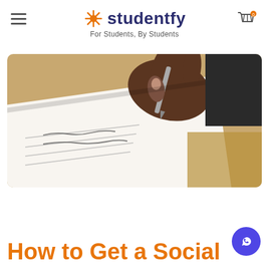studentfy — For Students, By Students
[Figure (photo): Close-up photo of a dark-skinned hand holding a pen and writing on a white document/paper, placed on a wooden desk surface]
How to Get a Social